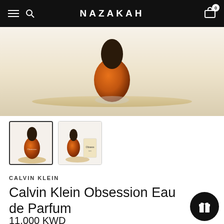NAZAKAH
[Figure (photo): Close-up product photo of a Calvin Klein Obsession perfume bottle (amber/brown oval bottle) sitting on a light wooden oval tray, with warm background lighting.]
[Figure (photo): Thumbnail 1: Calvin Klein Obsession perfume bottle on wooden tray (selected, with border).]
[Figure (photo): Thumbnail 2: Calvin Klein Obsession perfume bottle alongside product box on wooden tray.]
CALVIN KLEIN
Calvin Klein Obsession Eau de Parfum
11.000 KWD